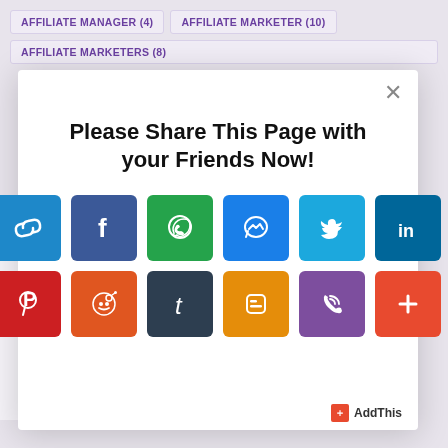AFFILIATE MANAGER (4)
AFFILIATE MARKETER (10)
AFFILIATE MARKETERS (8)
[Figure (screenshot): A share dialog modal with title 'Please Share This Page with your Friends Now!' and 12 social media share icons: Link, Facebook, WhatsApp, Messenger, Twitter, LinkedIn, Pinterest, Reddit, Tumblr, Blogger, Viber, and More (+). AddThis branding in bottom right.]